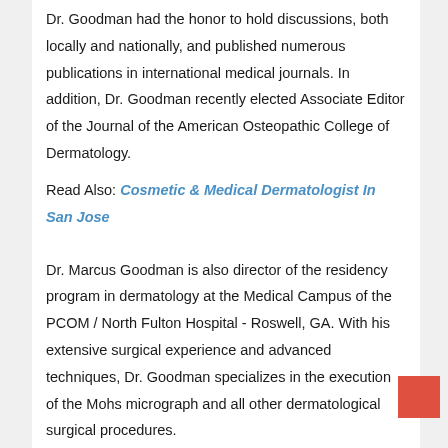Dr. Goodman had the honor to hold discussions, both locally and nationally, and published numerous publications in international medical journals. In addition, Dr. Goodman recently elected Associate Editor of the Journal of the American Osteopathic College of Dermatology.
Read Also: Cosmetic & Medical Dermatologist In San Jose
Dr. Marcus Goodman is also director of the residency program in dermatology at the Medical Campus of the PCOM / North Fulton Hospital - Roswell, GA. With his extensive surgical experience and advanced techniques, Dr. Goodman specializes in the execution of the Mohs micrograph and all other dermatological surgical procedures.
He has performed thousands of cancer operations and MOHS operations with exceptional results. With its unique approach